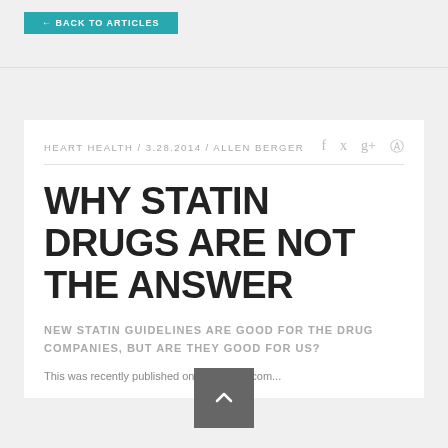HEART HEALTH / 3.28.2014 / ALLEN BERGER
WHY STATIN DRUGS ARE NOT THE ANSWER
NEW STATIN GUIDELINES ARE GOOD FOR THE DRUG COMPANIES, BUT ARE THEY GOOD FOR US?
This was recently published on Medscape.com...